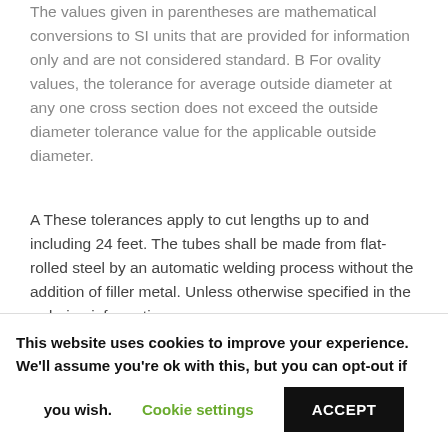The values given in parentheses are mathematical conversions to SI units that are provided for information only and are not considered standard. B For ovality values, the tolerance for average outside diameter at any one cross section does not exceed the outside diameter tolerance value for the applicable outside diameter.
A These tolerances apply to cut lengths up to and including 24 feet. The tubes shall be made from flat-rolled steel by an automatic welding process without the addition of filler metal. Unless otherwise specified in the ordering information
This website uses cookies to improve your experience. We'll assume you're ok with this, but you can opt-out if you wish. Cookie settings ACCEPT